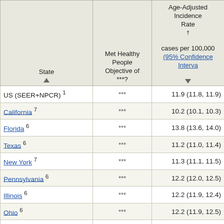| State | Met Healthy People Objective of ***? | Age-Adjusted Incidence Rate† cases per 100,000 (95% Confidence Interval) |
| --- | --- | --- |
| US (SEER+NPCR) 1 | *** | 11.9 (11.8, 11.9) |
| California 7 | *** | 10.2 (10.1, 10.3) |
| Florida 6 | *** | 13.8 (13.6, 14.0) |
| Texas 6 | *** | 11.2 (11.0, 11.4) |
| New York 7 | *** | 11.3 (11.1, 11.5) |
| Pennsylvania 6 | *** | 12.2 (12.0, 12.5) |
| Illinois 6 | *** | 12.2 (11.9, 12.4) |
| Ohio 6 | *** | 12.2 (11.9, 12.5) |
| North Carolina 6 | *** | 12.5 (12.3, 12.8) |
| Michigan 5 | *** | 12.0 (11.7, 12.3) |
| Georgia 7 | *** | 12.8 (12.5, 13.1) |
| New Jersey 7 | *** | 11.2 (10.9, 11.5) |
| Virginia 6 | *** | 11.3 (11.0, 11.6) |